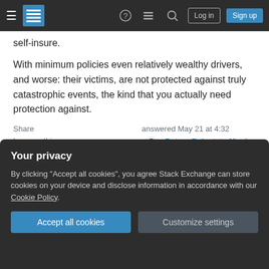Stack Exchange navigation bar with Log in and Sign up buttons
self-insure.
With minimum policies even relatively wealthy drivers, and worse: their victims, are not protected against truly catastrophic events, the kind that you actually need protection against.
Share  Improve this answer  Follow
answered May 21 at 4:32  Peter - Reinstate Monica  545 ●2 ●6
1   You usually can set an amount that you pay out of your
Your privacy
By clicking "Accept all cookies", you agree Stack Exchange can store cookies on your device and disclose information in accordance with our Cookie Policy.
Accept all cookies   Customize settings
limits so low in America. Florida has an absurd $10K